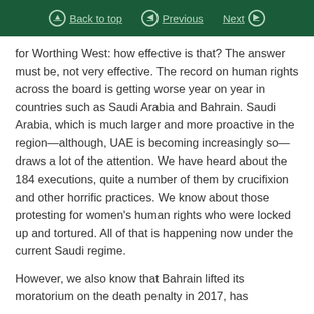Back to top | Previous | Next
for Worthing West: how effective is that? The answer must be, not very effective. The record on human rights across the board is getting worse year on year in countries such as Saudi Arabia and Bahrain. Saudi Arabia, which is much larger and more proactive in the region—although, UAE is becoming increasingly so—draws a lot of the attention. We have heard about the 184 executions, quite a number of them by crucifixion and other horrific practices. We know about those protesting for women's human rights who were locked up and tortured. All of that is happening now under the current Saudi regime.
However, we also know that Bahrain lifted its moratorium on the death penalty in 2017, has